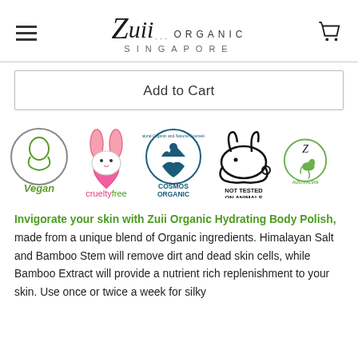Zuii Organic Singapore
Add to Cart
[Figure (logo): Row of certification badges: Vegan, Cruelty Free, Cosmos Organic, Not Tested on Animals, Australian (partially visible)]
Invigorate your skin with Zuii Organic Hydrating Body Polish, made from a unique blend of Organic ingredients. Himalayan Salt and Bamboo Stem will remove dirt and dead skin cells, while Bamboo Extract will provide a nutrient rich replenishment to your skin. Use once or twice a week for silky